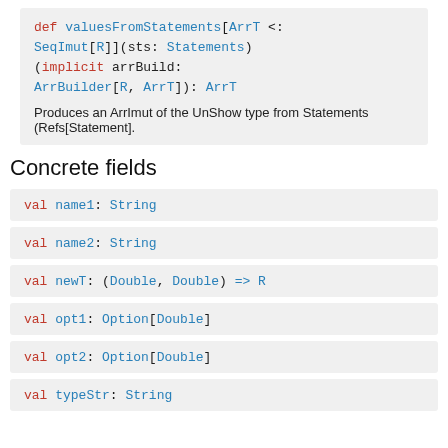def valuesFromStatements[ArrT <: SeqImut[R]](sts: Statements)(implicit arrBuild: ArrBuilder[R, ArrT]): ArrT
Produces an ArrImut of the UnShow type from Statements (Refs[Statement].
Concrete fields
val name1: String
val name2: String
val newT: (Double, Double) => R
val opt1: Option[Double]
val opt2: Option[Double]
val typeStr: String